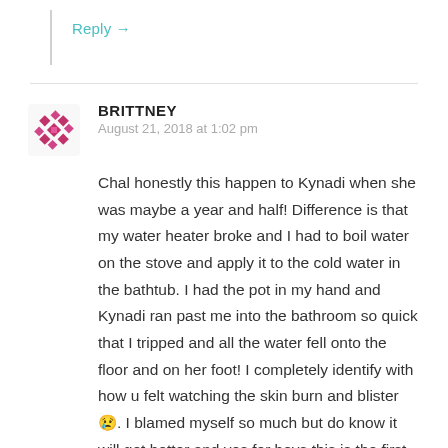Reply →
BRITTNEY
August 21, 2018 at 1:02 pm
Chal honestly this happen to Kynadi when she was maybe a year and half! Difference is that my water heater broke and I had to boil water on the stove and apply it to the cold water in the bathtub. I had the pot in my hand and Kynadi ran past me into the bathroom so quick that I tripped and all the water fell onto the floor and on her foot! I completely identify with how u felt watching the skin burn and blister 😢. I blamed myself so much but do know it will get better and yes for boys this is the first of many bumps and bruises.